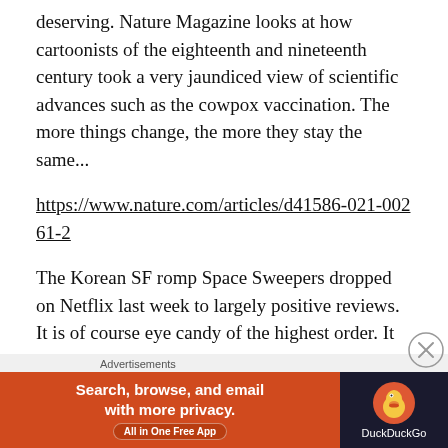deserving. Nature Magazine looks at how cartoonists of the eighteenth and nineteenth century took a very jaundiced view of scientific advances such as the cowpox vaccination. The more things change, the more they stay the same...
https://www.nature.com/articles/d41586-021-00261-2
The Korean SF romp Space Sweepers dropped on Netflix last week to largely positive reviews. It is of course eye candy of the highest order. It also takes a surprisingly nuanced and mature view of the economics of life in space, and how class will still play a big part in how a post-Earth society is ordered. In other words, the
[Figure (other): DuckDuckGo advertisement banner with orange left side reading 'Search, browse, and email with more privacy. All in One Free App' and dark right side with DuckDuckGo duck logo and brand name.]